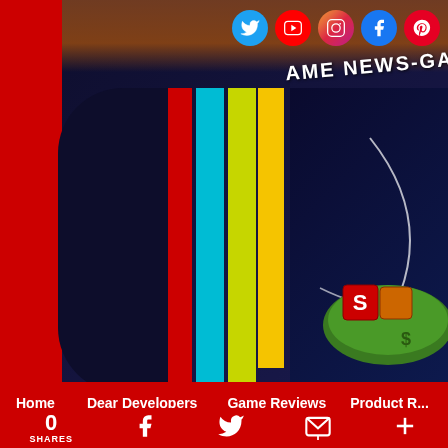[Figure (screenshot): Game news website header with colored vertical bars (red, cyan, lime green, yellow) on dark starry space background, with partial text 'GAME NEWS-GA' visible, green planet/island with logo on right side]
Social media icons: Twitter, YouTube, Instagram, Facebook, Pinterest
Home  Dear Developers  Game Reviews  Product R...
0 SHARES
Facebook share icon
Twitter share icon
Email share icon
More share icon